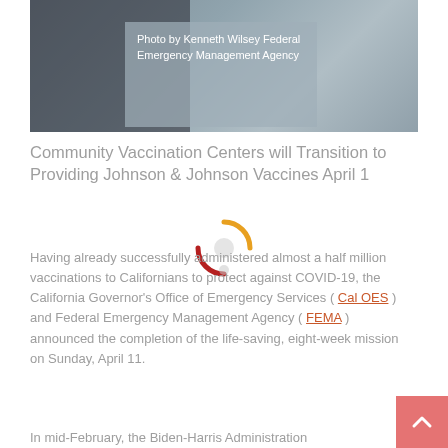[Figure (photo): Photo of vaccination center with overlay caption reading 'Photo by Kenneth Wilsey Federal Emergency Management Agency']
Photo by Kenneth Wilsey Federal Emergency Management Agency
Community Vaccination Centers will Transition to Providing Johnson & Johnson Vaccines April 1
Having already successfully administered almost a half million vaccinations to Californians to protect against COVID-19, the California Governor's Office of Emergency Services ( Cal OES ) and Federal Emergency Management Agency ( FEMA ) announced the completion of the life-saving, eight-week mission on Sunday, April 11.
In mid-February, the Biden-Harris Administration